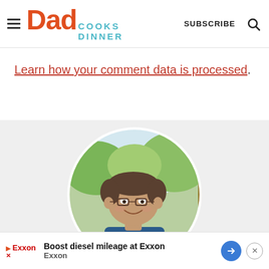Dad Cooks Dinner — SUBSCRIBE
Learn how your comment data is processed.
[Figure (photo): Circular portrait photo of a man with glasses, smiling, wearing a blue shirt, standing outdoors with trees in background]
Boost diesel mileage at Exxon — Exxon advertisement